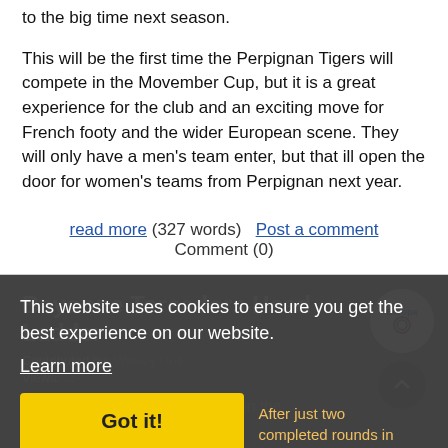to the big time next season.
This will be the first time the Perpignan Tigers will compete in the Movember Cup, but it is a great experience for the club and an exciting move for French footy and the wider European scene. They will only have a men's team enter, but that ill open the door for women's teams from Perpignan next year.
read more (327 words)   Post a comment
Comment (0)
Bayonne Toreadors Head Ladder
Contributed by: Wesley Hull
After just two completed rounds in the CNFA season, the Bayonne
This website uses cookies to ensure you get the best experience on our website.
Learn more
Got it!